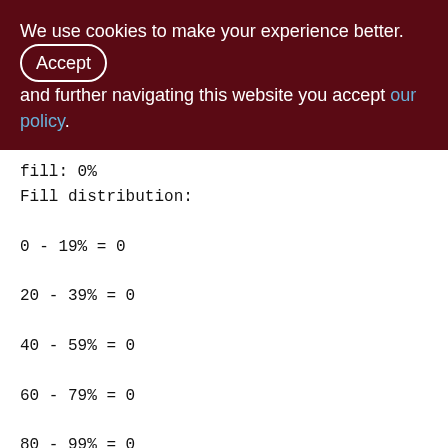We use cookies to make your experience better. By accepting and further navigating this website you accept our policy.
fill: 0%
Fill distribution:
0 - 19% = 0
20 - 39% = 0
40 - 59% = 0
60 - 79% = 0
80 - 99% = 0

Index ZQDISTR_ID (0)
Depth: 1, leaf buckets: 1, nodes: 0
Average data length: 0.00, total dup: 0,
max dup: 0
Fill distribution: